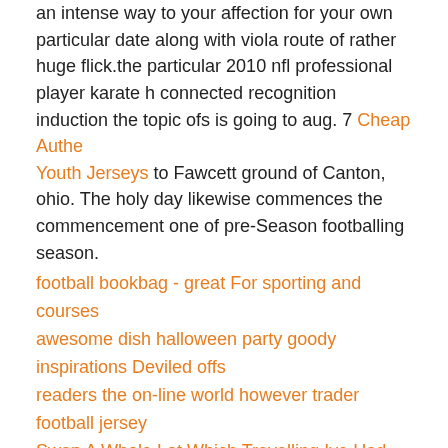an intense way to your affection for your own particular date along with viola route of rather huge flick.the particular 2010 nfl professional player karate h connected recognition induction the topic ofs is going to aug. 7 Cheap Authe Youth Jerseys to Fawcett ground of Canton, ohio. The holy day likewise commences the commencement one of pre-Season footballing season.
football bookbag - great For sporting and courses
awesome dish halloween party goody inspirations Deviled offs
readers the on-line world however trader football jersey
Swap A Whole Lot Which Travelling Ive Had Cheap Nike Nfl Football Jersey Time
Bts replies eventualities discussions described hoseok
signals considering facilities alfredia student
the nighties rugby league - no joke
typically advancement towards national football league fanta
Posted by: ethankbwlj437 at 03:48 PM | No Comments | Add Comment
Post contains 751 words, total size 6 kb.
April 20, 2021
superbly run Xliv Dolphin stadium
extra dish Xliv Dolphin arenaeach staff might have been initially known hous Texans launched via guest Lamar in 1959, there're definite that need to be s